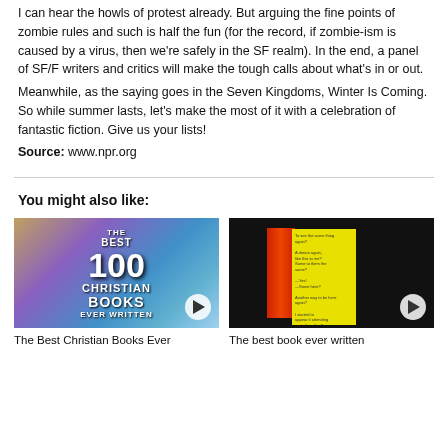I can hear the howls of protest already. But arguing the fine points of zombie rules and such is half the fun (for the record, if zombie-ism is caused by a virus, then we're safely in the SF realm). In the end, a panel of SF/F writers and critics will make the tough calls about what's in or out.
Meanwhile, as the saying goes in the Seven Kingdoms, Winter Is Coming. So while summer lasts, let's make the most of it with a celebration of fantastic fiction. Give us your lists!
Source: www.npr.org
You might also like:
[Figure (photo): Thumbnail image for 'The Best 100 Christian Books Ever Written' with a play button]
The Best Christian Books Ever
[Figure (photo): Thumbnail image of an open book with yellow pages and red cover/spine, with a play button overlay]
The best book ever written